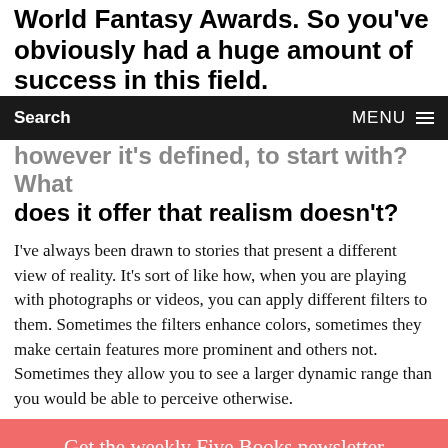World Fantasy Awards. So you've obviously had a huge amount of success in this field.
Search   MENU
however it's defined, to start with? What does it offer that realism doesn't?
I've always been drawn to stories that present a different view of reality. It's sort of like how, when you are playing with photographs or videos, you can apply different filters to them. Sometimes the filters enhance colors, sometimes they make certain features more prominent and others not. Sometimes they allow you to see a larger dynamic range than you would be able to perceive otherwise.
Get the weekly Five Books newsletter
Subscribe